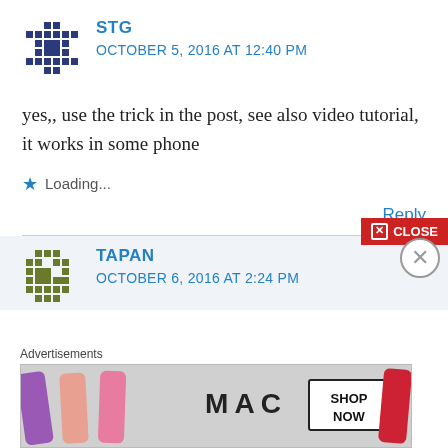[Figure (illustration): Pixel/mosaic style avatar icon for user STG]
STG
OCTOBER 5, 2016 AT 12:40 PM
yes,, use the trick in the post, see also video tutorial, it works in some phone
Loading...
Reply
[Figure (illustration): Pixel/mosaic style avatar icon for user TAPAN]
TAPAN
OCTOBER 6, 2016 AT 2:24 PM
CLOSE
[Figure (photo): MAC cosmetics advertisement banner showing lipsticks with SHOP NOW button]